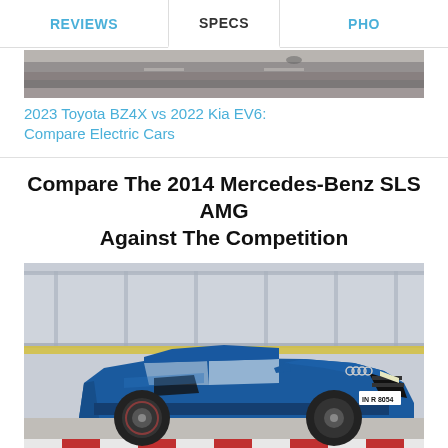REVIEWS | SPECS | PHO...
[Figure (photo): Partial view of a car on a racetrack (thumbnail image, cropped)]
2023 Toyota BZ4X vs 2022 Kia EV6: Compare Electric Cars
Compare The 2014 Mercedes-Benz SLS AMG Against The Competition
[Figure (photo): Blue Audi R8 sports car on a racing track, with glass barriers visible in the background. License plate reads IN R 8054.]